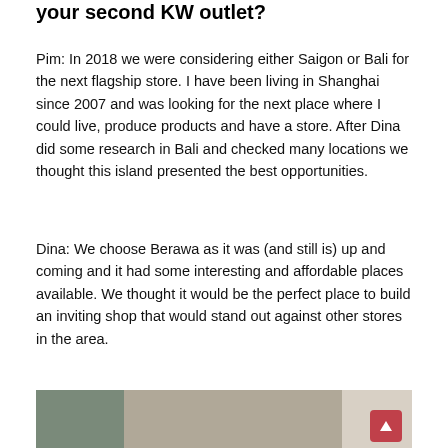your second KW outlet?
Pim: In 2018 we were considering either Saigon or Bali for the next flagship store. I have been living in Shanghai since 2007 and was looking for the next place where I could live, produce products and have a store. After Dina did some research in Bali and checked many locations we thought this island presented the best opportunities.
Dina: We choose Berawa as it was (and still is) up and coming and it had some interesting and affordable places available. We thought it would be the perfect place to build an inviting shop that would stand out against other stores in the area.
[Figure (photo): Photo showing a sewing machine on the left, a person with blonde hair in the center, and a bright interior space on the right.]